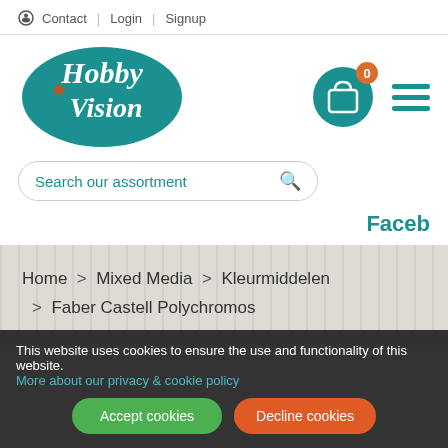Contact | Login | Signup
[Figure (logo): Hobby Vision logo — teal oval with white cursive text 'Hobby Vision' and a small orange star]
[Figure (infographic): Teal shopping cart icon with orange badge showing '0', and teal hamburger menu icon]
Search our assortment
Faceb
Home > Mixed Media > Kleurmiddelen > Faber Castell Polychromos
This website uses cookies to ensure the use and functionality of this website. More about our privacy & cookie policy
Accept cookies | Decline cookies